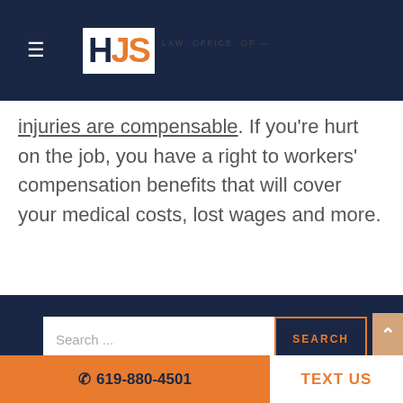[Figure (logo): HJS Law Office of Howard J. Stevens APC logo with hamburger menu on dark navy header bar]
injuries are compensable. If you're hurt on the job, you have a right to workers' compensation benefits that will cover your medical costs, lost wages and more.
[Figure (screenshot): Dark navy sidebar/section with search bar, Recent Posts heading, and scroll-up button]
619-880-4501   TEXT US